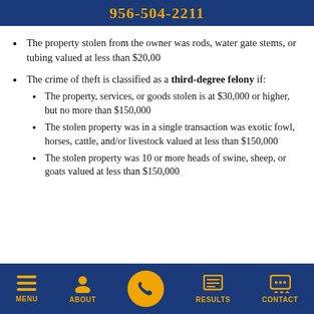956-504-2211
The property stolen from the owner was rods, water gate stems, or tubing valued at less than $20,00
The crime of theft is classified as a third-degree felony if:
The property, services, or goods stolen is at $30,000 or higher, but no more than $150,000
The stolen property was in a single transaction was exotic fowl, horses, cattle, and/or livestock valued at less than $150,000
The stolen property was 10 or more heads of swine, sheep, or goats valued at less than $150,000
MENU  ABOUT  RESULTS  CONTACT